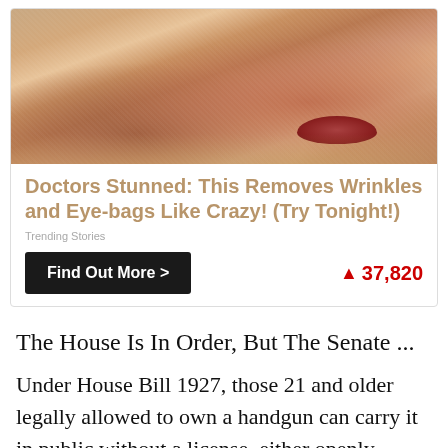[Figure (photo): Close-up photo of aged/wrinkled skin near lips area, skin shows texture with whitish/clay-like treatment applied]
Doctors Stunned: This Removes Wrinkles and Eye-bags Like Crazy! (Try Tonight!)
Trending Stories
Find Out More >
🔥 37,820
The House Is In Order, But The Senate ...
Under House Bill 1927, those 21 and older legally allowed to own a handgun can carry it in public without a license, either openly